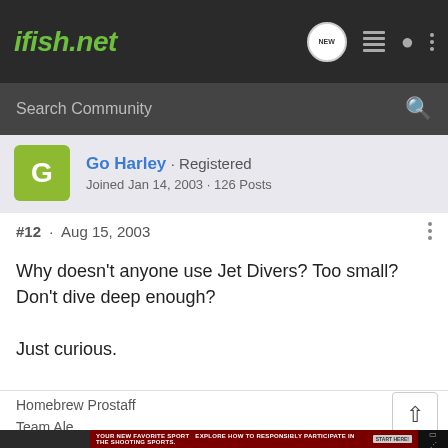ifish.net
Search Community
Go Harley · Registered
Joined Jan 14, 2003 · 126 Posts
#12 · Aug 15, 2003
Why doesn't anyone use Jet Divers? Too small? Don't dive deep enough?

Just curious.
Homebrew Prostaff
Team Ale
[Figure (screenshot): Advertisement banner: YOUR NEW FAVORITE SPORT - EXPLORE HOW TO RESPONSIBLY PARTICIPATE IN THE SHOOTING SPORTS. START HERE!]